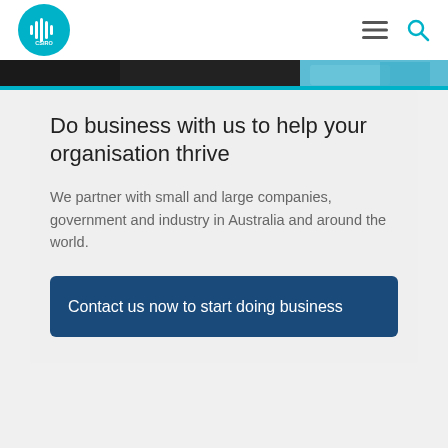CSIRO
[Figure (photo): Hero image strip showing partial photograph with dark and teal/blue tones]
Do business with us to help your organisation thrive
We partner with small and large companies, government and industry in Australia and around the world.
Contact us now to start doing business